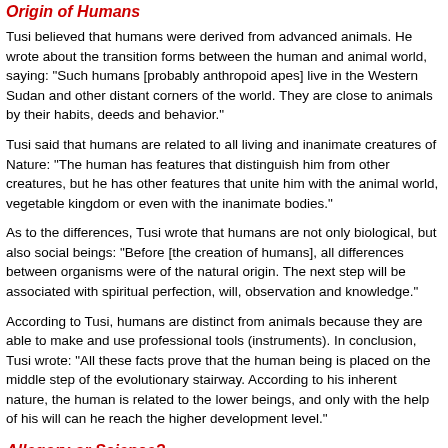Origin of Humans
Tusi believed that humans were derived from advanced animals. He wrote about the transition forms between the human and animal world, saying: "Such humans [probably anthropoid apes] live in the Western Sudan and other distant corners of the world. They are close to animals by their habits, deeds and behavior."
Tusi said that humans are related to all living and inanimate creatures of Nature: "The human has features that distinguish him from other creatures, but he has other features that unite him with the animal world, vegetable kingdom or even with the inanimate bodies."
As to the differences, Tusi wrote that humans are not only biological, but also social beings: "Before [the creation of humans], all differences between organisms were of the natural origin. The next step will be associated with spiritual perfection, will, observation and knowledge."
According to Tusi, humans are distinct from animals because they are able to make and use professional tools (instruments). In conclusion, Tusi wrote: "All these facts prove that the human being is placed on the middle step of the evolutionary stairway. According to his inherent nature, the human is related to the lower beings, and only with the help of his will can he reach the higher development level."
Allegory or Science?
So why isn't Tusi widely known for developing the theory of evolution? It isn't just because he was from the East and wrote in Persian. Tusi's theory is based on philosophy and Islam. Tusi believed that God created the world, and that after creation occurred, the world developed on its own, while God supervises and guides this process.
As a result, Eastern scientists who are familiar with Tusi's views about the perfection of the world have tended to interpret them from a religious or philosophical point of view. Muslims don't agree with the theory of evolution, just as some Christians don't have...